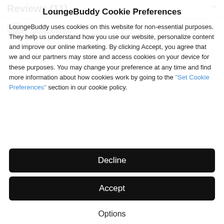Reviews (11)
Outstanding
LoungeBuddy Cookie Preferences
LoungeBuddy uses cookies on this website for non-essential purposes. They help us understand how you use our website, personalize content and improve our online marketing. By clicking Accept, you agree that we and our partners may store and access cookies on your device for these purposes. You may change your preference at any time and find more information about how cookies work by going to the "Set Cookie Preferences" section in our cookie policy.
Decline
Accept
Options